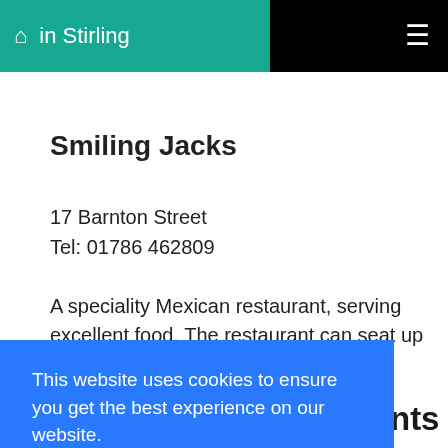in Stirling
Smiling Jacks
17 Barnton Street
Tel: 01786 462809
A speciality Mexican restaurant, serving excellent food. The restaurant can seat up to 50 people and
This website uses cookies to ensure you get the best experience on our website.
Learn more
Got it!
Mediterranean Restaurants